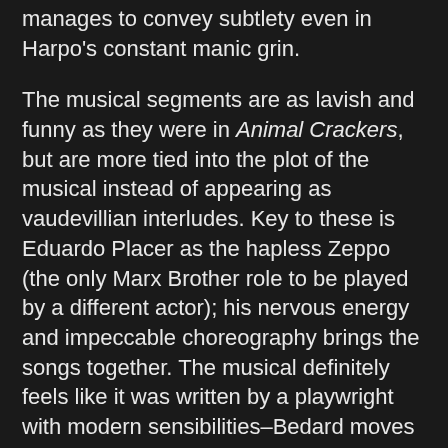manages to convey subtlety even in Harpo's constant manic grin.
The musical segments are as lavish and funny as they were in Animal Crackers, but are more tied into the plot of the musical instead of appearing as vaudevillian interludes. Key to these is Eduardo Placer as the hapless Zeppo (the only Marx Brother role to be played by a different actor); his nervous energy and impeccable choreography brings the songs together. The musical definitely feels like it was written by a playwright with modern sensibilities–Bedard moves away from the Marx Brothers' vaudeville roots, turning the play from a variety show into a farce.
Rounding out the play is the hilarious ensemble cast. K. T. Vogt's Mrs. Jamison was my personal favorite–Vogt is a very good character actor (catch her in Two Gentlemen of Verona as well!) and plays a role as the stuck-up rich lady common to the subversive wackiness of the Marx Brothers. A stone-faced David Kelley plays the unfortunate Detective Hennessey (who gets probably the best song in the show), and Robert Vincent Frank and Kate Mulligan play a pair of